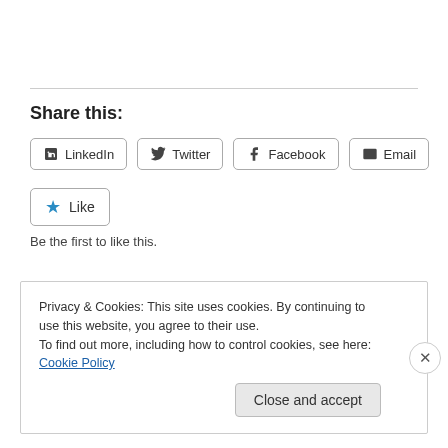Share this:
LinkedIn  Twitter  Facebook  Email
Like
Be the first to like this.
Privacy & Cookies: This site uses cookies. By continuing to use this website, you agree to their use.
To find out more, including how to control cookies, see here: Cookie Policy
Close and accept